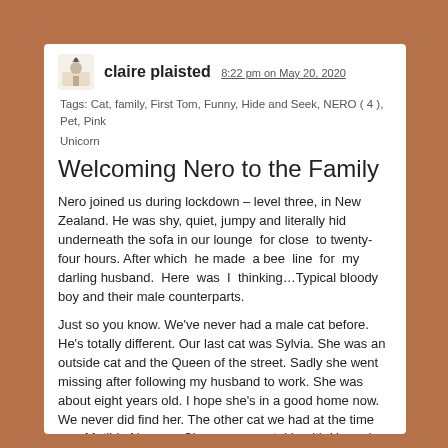claire plaisted 8:22 pm on May 20, 2020
Tags: Cat, family, First Tom, Funny, Hide and Seek, NERO ( 4 ), Pet, Pink Unicorn
Welcoming Nero to the Family
Nero joined us during lockdown – level three, in New Zealand. He was shy, quiet, jumpy and literally hid underneath the sofa in our lounge for close to twenty-four hours. After which he made a bee line for my darling husband. Here was I thinking…Typical bloody boy and their male counterparts.
Just so you know. We've never had a male cat before. He's totally different. Our last cat was Sylvia. She was an outside cat and the Queen of the street. Sadly she went missing after following my husband to work. She was about eight years old. I hope she's in a good home now. We never did find her. The other cat we had at the time was Matilda Norman. She was a mental health Hazard...